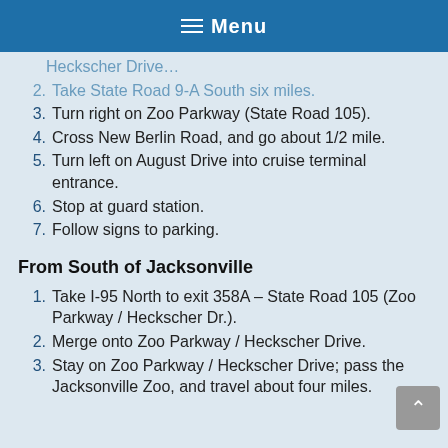☰ Menu
Heckscher Drive…
Take State Road 9-A South six miles.
Turn right on Zoo Parkway (State Road 105).
Cross New Berlin Road, and go about 1/2 mile.
Turn left on August Drive into cruise terminal entrance.
Stop at guard station.
Follow signs to parking.
From South of Jacksonville
Take I-95 North to exit 358A – State Road 105 (Zoo Parkway / Heckscher Dr.).
Merge onto Zoo Parkway / Heckscher Drive.
Stay on Zoo Parkway / Heckscher Drive; pass the Jacksonville Zoo, and travel about four miles.